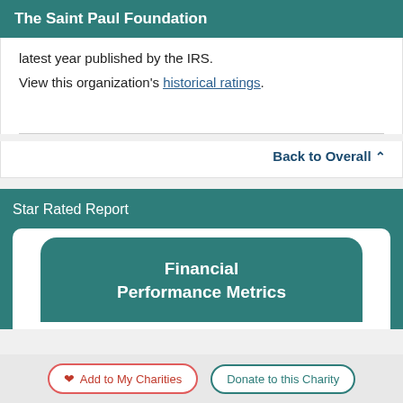The Saint Paul Foundation
latest year published by the IRS.
View this organization's historical ratings.
Back to Overall
Star Rated Report
Financial Performance Metrics
Add to My Charities   Donate to this Charity